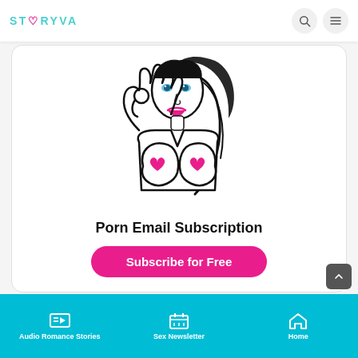STORYVA
[Figure (illustration): Line art illustration of a woman making an OK hand gesture, with pink heart shapes over the chest area]
Porn Email Subscription
Subscribe for Free
Audio Romance Stories | Sex Newsletter | Home